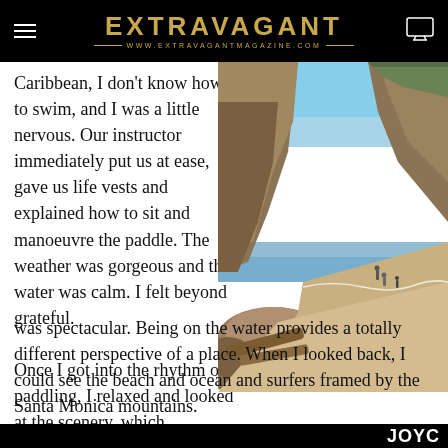EXTRAVAGANT — WWW.EXTRAVAGANTMAGAZINE.COM
Caribbean, I don't know how to swim, and I was a little nervous. Our instructor immediately put us at ease, gave us life vests and explained how to sit and manoeuvre the paddle. The weather was gorgeous and the water was calm. I felt beyond grateful.
[Figure (photo): Rocky coastal cliff scene with a sandy beach, ocean waves, and people walking along the shore, with tall cliffs covered in vegetation in the background and blue sky above.]
Once I got into the rhythm of paddling, I relaxed and looked at the scenery, which was spectacular. Being on the water provides a totally different perspective of a place. When I looked back, I could see the beach and ocean and surfers framed by the Santa Monica mountains.
JOYC